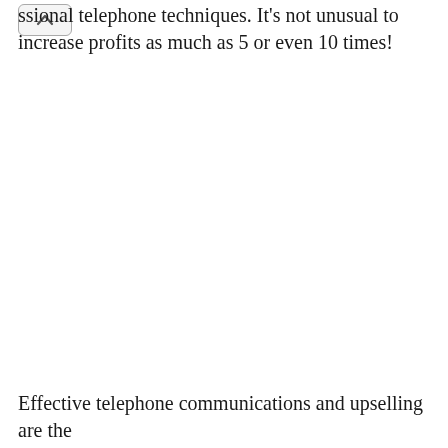ssional telephone techniques. It's not unusual to increase profits as much as 5 or even 10 times!
Effective telephone communications and upselling are the